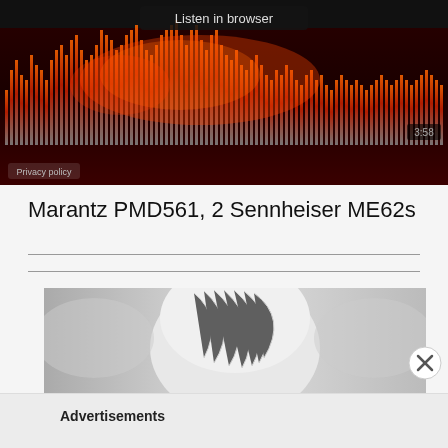[Figure (screenshot): Audio player with waveform visualization on dark red/black background showing frequency bars in orange/amber colors and a 'Listen in browser' button at top]
Marantz PMD561, 2 Sennheiser ME62s
[Figure (photo): Black and white photo of a person with light/white hair, partially visible, with an X close button overlay — advertisement image]
Advertisements